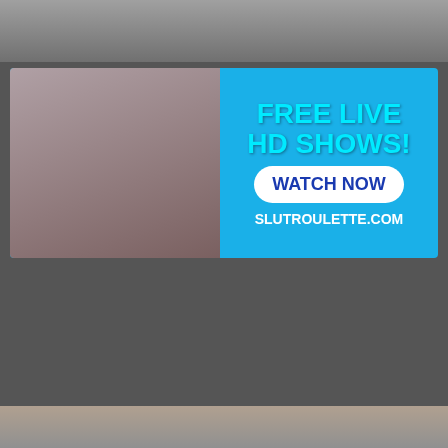[Figure (photo): Top partial photo strip showing feet/floor area]
[Figure (photo): Advertisement banner: photo of woman in pink lingerie on left; right side has cyan text FREE LIVE HD SHOWS!, white rounded button WATCH NOW, white text SLUTROULETTE.COM on blue background]
[Figure (photo): AmateurMatch banner with GET LAID TONIGHT!!! text and three profile photos: 28 YO wants Group Sex, 23 YO wants Naughty Fun, 22 YO wants Relationship]
[Figure (photo): Bottom partial photo strip]